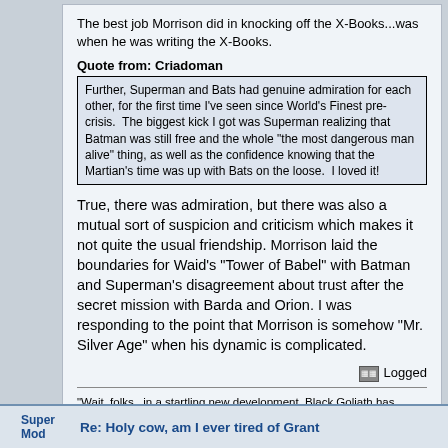The best job Morrison did in knocking off the X-Books...was when he was writing the X-Books.
Quote from: Criadoman
Further, Superman and Bats had genuine admiration for each other, for the first time I've seen since World's Finest pre-crisis.  The biggest kick I got was Superman realizing that Batman was still free and the whole "the most dangerous man alive" thing, as well as the confidence knowing that the Martian's time was up with Bats on the loose.  I loved it!
True, there was admiration, but there was also a mutual sort of suspicion and criticism which makes it not quite the usual friendship. Morrison laid the boundaries for Waid's "Tower of Babel" with Batman and Superman's disagreement about trust after the secret mission with Barda and Orion. I was responding to the point that Morrison is somehow "Mr. Silver Age" when his dynamic is complicated.
Logged
"Wait, folks...in a startling new development, Black Goliath has ripped Stilt-Man's leg off, and appears to be beating him with it!"
    - Reporter, Champions #15 (1978)
Super Mod
Re: Holy cow, am I ever tired of Grant